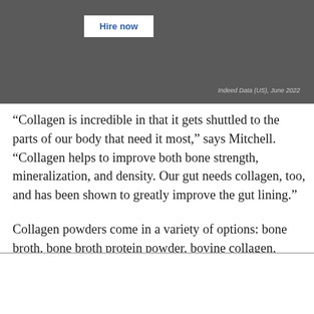[Figure (other): Dark grey banner with 'Hire now' button and 'Indeed Data (US), June 2022' credit text]
“Collagen is incredible in that it gets shuttled to the parts of our body that need it most,” says Mitchell. “Collagen helps to improve both bone strength, mineralization, and density. Our gut needs collagen, too, and has been shown to greatly improve the gut lining.”
Collagen powders come in a variety of options: bone broth, bone broth protein powder, bovine collagen, marine collagen, and vegan proteins